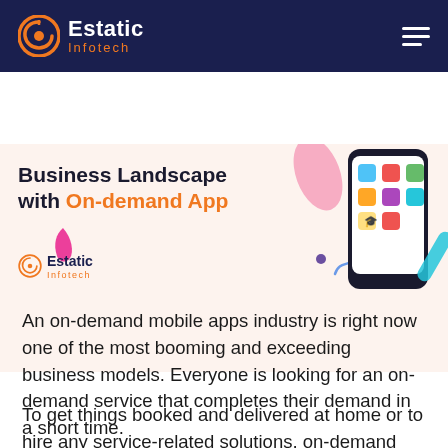Estatic Infotech
[Figure (illustration): Hero banner showing 'Business Landscape with On-demand App' text alongside a smartphone illustration with app icons, on a light peach background. Estatic Infotech sub-logo visible.]
An on-demand mobile apps industry is right now one of the most booming and exceeding business models. Everyone is looking for an on-demand service that completes their demand in a short time.
To get things booked and delivered at home or to hire any service-related solutions, on-demand mobile apps are